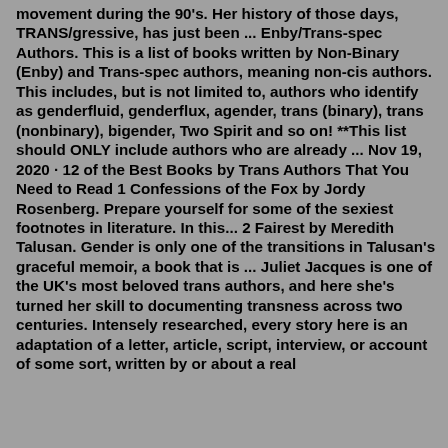movement during the 90's. Her history of those days, TRANS/gressive, has just been ... Enby/Trans-spec Authors. This is a list of books written by Non-Binary (Enby) and Trans-spec authors, meaning non-cis authors. This includes, but is not limited to, authors who identify as genderfluid, genderflux, agender, trans (binary), trans (nonbinary), bigender, Two Spirit and so on! **This list should ONLY include authors who are already ... Nov 19, 2020 · 12 of the Best Books by Trans Authors That You Need to Read 1 Confessions of the Fox by Jordy Rosenberg. Prepare yourself for some of the sexiest footnotes in literature. In this... 2 Fairest by Meredith Talusan. Gender is only one of the transitions in Talusan's graceful memoir, a book that is ... Juliet Jacques is one of the UK's most beloved trans authors, and here she's turned her skill to documenting transness across two centuries. Intensely researched, every story here is an adaptation of a letter, article, script, interview, or account of some sort, written by or about a real